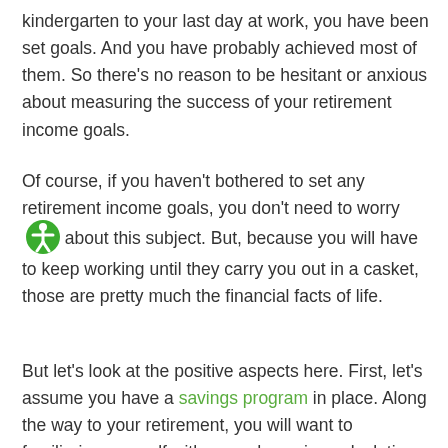kindergarten to your last day at work, you have been set goals. And you have probably achieved most of them. So there's no reason to be hesitant or anxious about measuring the success of your retirement income goals.
Of course, if you haven't bothered to set any retirement income goals, you don't need to worry about this subject. But, because you will have to keep working until they carry you out in a casket, those are pretty much the financial facts of life.
But let's look at the positive aspects here. First, let's assume you have a savings program in place. Along the way to your retirement, you will want to familiarize yourself with a good pension calculating program